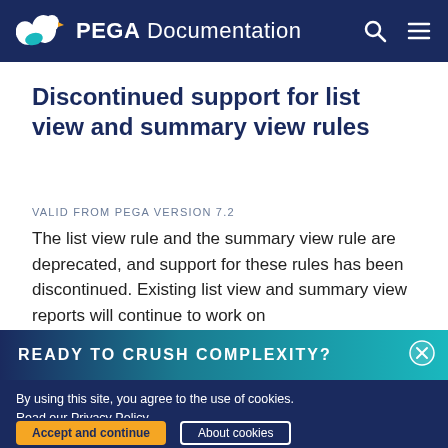PEGA Documentation
Discontinued support for list view and summary view rules
VALID FROM PEGA VERSION 7.2
The list view rule and the summary view rule are deprecated, and support for these rules has been discontinued. Existing list view and summary view reports will continue to work on
READY TO CRUSH COMPLEXITY?
By using this site, you agree to the use of cookies. Read our Privacy Policy
Accept and continue
About cookies